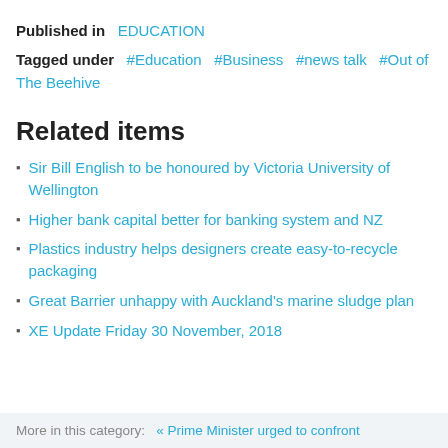Published in  EDUCATION
Tagged under  #Education  #Business  #news talk  #Out of The Beehive
Related items
Sir Bill English to be honoured by Victoria University of Wellington
Higher bank capital better for banking system and NZ
Plastics industry helps designers create easy-to-recycle packaging
Great Barrier unhappy with Auckland's marine sludge plan
XE Update Friday 30 November, 2018
More in this category:   « Prime Minister urged to confront